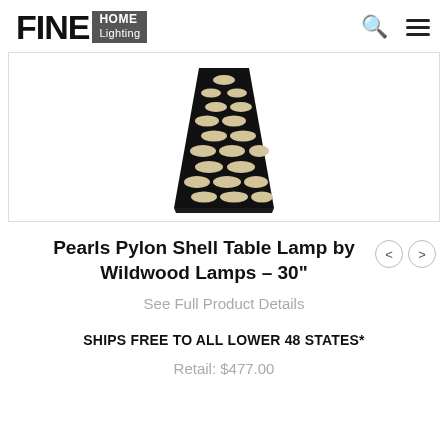FINE HOME Lighting
[Figure (photo): A decorative table lamp shade with a black and cream/gold checkerboard oval pattern, trapezoidal shape narrowing toward the top, displayed on white background.]
Pearls Pylon Shell Table Lamp by Wildwood Lamps – 30"
See Full Product Details
SHIPS FREE TO ALL LOWER 48 STATES*
Retail: $477.00